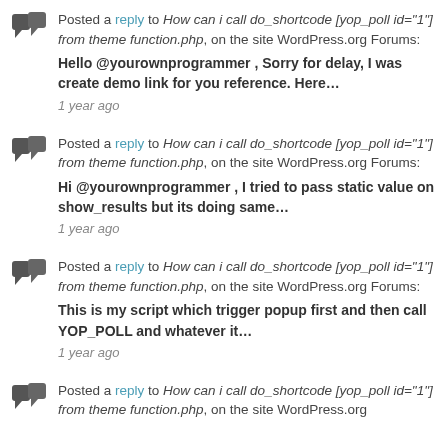Posted a reply to How can i call do_shortcode [yop_poll id="1"] from theme function.php, on the site WordPress.org Forums: Hello @yourownprogrammer , Sorry for delay, I was create demo link for you reference. Here… 1 year ago
Posted a reply to How can i call do_shortcode [yop_poll id="1"] from theme function.php, on the site WordPress.org Forums: Hi @yourownprogrammer , I tried to pass static value on show_results but its doing same… 1 year ago
Posted a reply to How can i call do_shortcode [yop_poll id="1"] from theme function.php, on the site WordPress.org Forums: This is my script which trigger popup first and then call YOP_POLL and whatever it… 1 year ago
Posted a reply to How can i call do_shortcode [yop_poll id="1"] from theme function.php, on the site WordPress.org